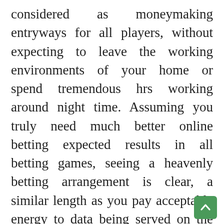considered as moneymaking entryways for all players, without expecting to leave the working environments of your home or spend tremendous hrs working around night time. Assuming you truly need much better online betting expected results in all betting games, seeing a heavenly betting arrangement is clear, a similar length as you pay acceptable energy to data being served on the web. Clearly following getting what you see ought to be your betting framework as shown by a real perspective nothing can get you quite far from supporting succeeding achievement in the PC games of betting. Without a doubt, last resort, be chastised that it in like way ta